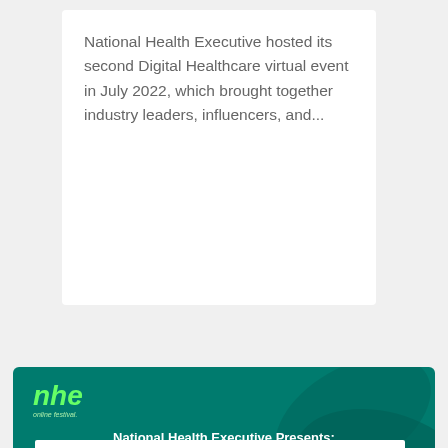National Health Executive hosted its second Digital Healthcare virtual event in July 2022, which brought together industry leaders, influencers, and...
Improving efficiency...
A feature vide... success of the... department at... Hospital in Sto... available to vie...
[Figure (screenshot): National Health Executive banner with teal background showing NHE logo and text 'National Health Executive Presents: Virtual']